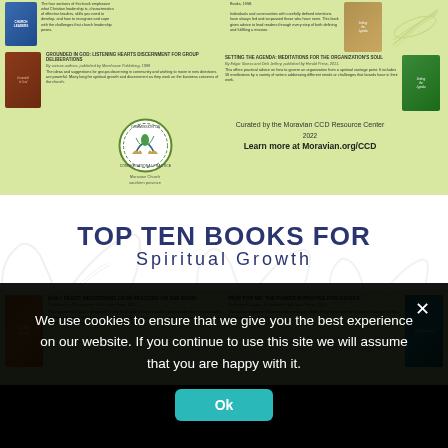[Figure (infographic): Top portion of a curated book list page with light green background showing book covers and descriptions, Moravian CCD logo, and decorative open book illustrations]
GROUNDED IN GOD: LISTENING HEARTS DISCERNMENT FOR GROUP DELIBERATIONS
By various authors, published by Morehouse Publishing, 1998
The ideas and suggestions for groups discerning in community and wishing to move in new directions are powerful. Many long for spiritual growth and discernment as they work on the business concerns of the church.
SETTING THE AGENDA: MEDITATIONS FOR THE ORGANIZATION'S SOUL
By Edgar Stoess and Dick Jeffery, published by Herald Press, 2011.
This offers practical advice on how to govern an organization from a spiritual vantage point. It includes 50 meditations by a variety of writers addressing different needs or challenges that boards have in their work.
Curated by the Moravian CCD Resource Center
2022
Learn more at Moravian.org/CCD
TOP TEN BOOKS FOR
Spiritual Growth
DAILY FEAST: MEDITATIONS FROM FEASTING ON THE WORD
Published by Westminster John Knox Press, 2012
This devotional book is designed to step back and focus on smaller pieces from the commentaries of Feasting on the Word. It should act as a daily feast for your continuing formation in the life of the Christian faith. These are excellent to use in board a
PRAY FOR ME: THE POWER IN PRAYING FOR OTHERS
By Kenneth Carter, Jr., published by Upper Room, 2011
The author explores Christian intercession in depth. Praying for others is shown to be part of the fabric of life as a Christian.
We use cookies to ensure that we give you the best experience on our website. If you continue to use this site we will assume that you are happy with it.